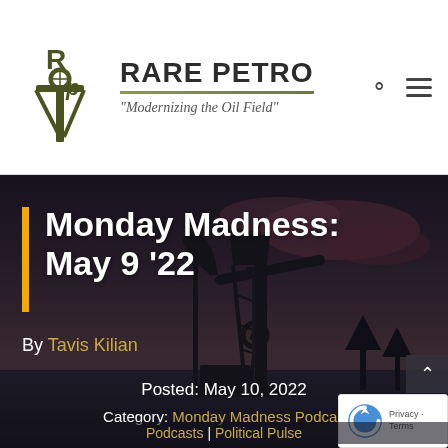RARE PETRO — "Modernizing the Oil Field"
Monday Madness: May 9 '22
By Tavis Kilian
Posted: May 10, 2022
Category: Monday Madness Podcasts | Podcasts | Political Pulse